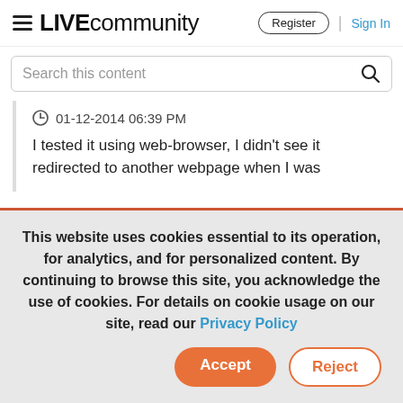≡ LIVEcommunity | Register | Sign In
Search this content
01-12-2014 06:39 PM

I tested it using web-browser, I didn't see it redirected to another webpage when I was
This website uses cookies essential to its operation, for analytics, and for personalized content. By continuing to browse this site, you acknowledge the use of cookies. For details on cookie usage on our site, read our Privacy Policy
Accept | Reject